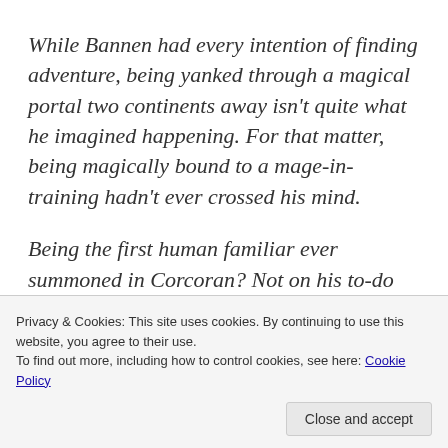While Bannen had every intention of finding adventure, being yanked through a magical portal two continents away isn't quite what he imagined happening. For that matter, being magically bound to a mage-in-training hadn't ever crossed his mind.
Being the first human familiar ever summoned in Corcoran? Not on his to-do list.
Rena certainly needs all of the help that she can
Privacy & Cookies: This site uses cookies. By continuing to use this website, you agree to their use.
To find out more, including how to control cookies, see here: Cookie Policy